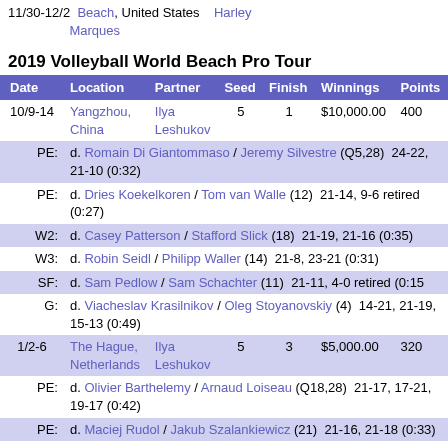11/30-12/2  Beach, United States  Harley Marques
2019 Volleyball World Beach Pro Tour
| Date | Location | Partner | Seed | Finish | Winnings | Points |
| --- | --- | --- | --- | --- | --- | --- |
| 10/9-14 | Yangzhou, China | Ilya Leshukov | 5 | 1 | $10,000.00 | 400 |
| PE: | d. Romain Di Giantommaso / Jeremy Silvestre (Q5,28) 24-22, 21-10 (0:32) |  |  |  |  |  |
| PE: | d. Dries Koekelkoren / Tom van Walle (12) 21-14, 9-6 retired (0:27) |  |  |  |  |  |
| W2: | d. Casey Patterson / Stafford Slick (18) 21-19, 21-16 (0:35) |  |  |  |  |  |
| W3: | d. Robin Seidl / Philipp Waller (14) 21-8, 23-21 (0:31) |  |  |  |  |  |
| SF: | d. Sam Pedlow / Sam Schachter (11) 21-11, 4-0 retired (0:15 |  |  |  |  |  |
| G: | d. Viacheslav Krasilnikov / Oleg Stoyanovskiy (4) 14-21, 21-19, 15-13 (0:49) |  |  |  |  |  |
| 1/2-6 | The Hague, Netherlands | Ilya Leshukov | 5 | 3 | $5,000.00 | 320 |
| PE: | d. Olivier Barthelemy / Arnaud Loiseau (Q18,28) 21-17, 17-21, 19-17 (0:42) |  |  |  |  |  |
| PE: | d. Maciej Rudol / Jakub Szalankiewicz (21) 21-16, 21-18 (0:33) |  |  |  |  |  |
| W2: | d. Alex Ranghieri / Marco Caminati (13) 21-16, 21-14 (0:34) |  |  |  |  |  |
| W3: | d. Piotr Kantor / Bartosz Losiak (4) 21-18, 21-14 (0:32) |  |  |  |  |  |
| SF: | l. Oleg Stoyanovskiy / Viacheslav Krasilnikov (6) 18-21, 14-21 (0:33) |  |  |  |  |  |